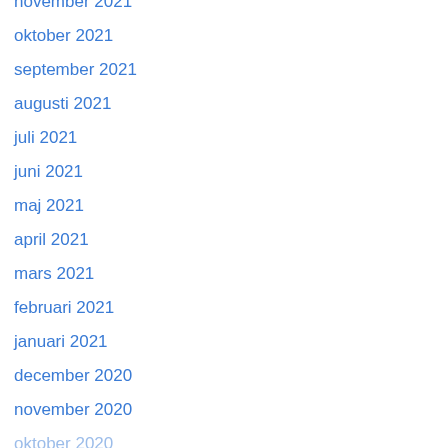november 2021
oktober 2021
september 2021
augusti 2021
juli 2021
juni 2021
maj 2021
april 2021
mars 2021
februari 2021
januari 2021
december 2020
november 2020
oktober 2020